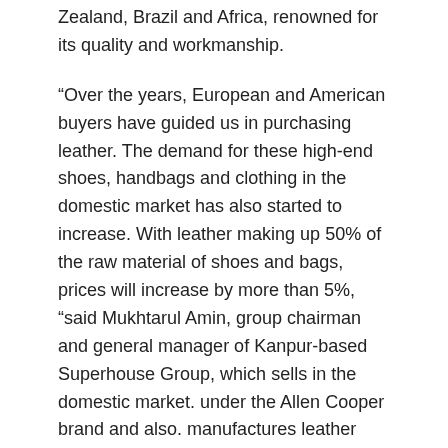Zealand, Brazil and Africa, renowned for its quality and workmanship.
“Over the years, European and American buyers have guided us in purchasing leather. The demand for these high-end shoes, handbags and clothing in the domestic market has also started to increase. With leather making up 50% of the raw material of shoes and bags, prices will increase by more than 5%, “said Mukhtarul Amin, group chairman and general manager of Kanpur-based Superhouse Group, which sells in the domestic market. under the Allen Cooper brand and also. manufactures leather products for German luxury fashion house Hugo Boss and American Michael Kors.
India exports leather products worth $ 5 billion annually and imports raw and finished leather worth $ 0.5 billion. Footwear exports account for 51.77% of the shares from April 2019 to March 2020 with a value of $ 2.6 billion. India’s raw material resources are insufficient and hence import duties will hamper exports of finished products from India, said Sanjay Leekha, vice president of the Council for